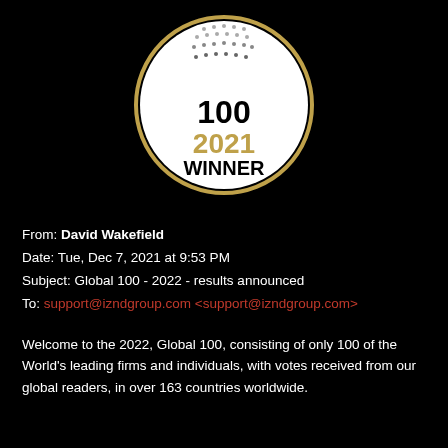[Figure (logo): Global 100 2021 Winner badge — circular white badge with gold border, black outer ring, dotted globe graphic at top, '100' in large bold text, '2021' in large gold numerals, 'WINNER' in bold black text]
From: David Wakefield
Date: Tue, Dec 7, 2021 at 9:53 PM
Subject: Global 100 - 2022 - results announced
To: support@izndgroup.com <support@izndgroup.com>
Welcome to the 2022, Global 100, consisting of only 100 of the World's leading firms and individuals, with votes received from our global readers, in over 163 countries worldwide.